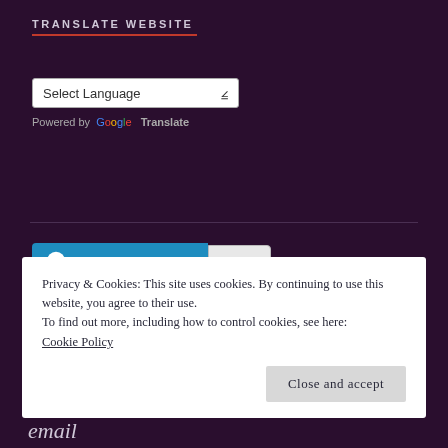TRANSLATE WEBSITE
[Figure (screenshot): Select Language dropdown widget with chevron arrow]
Powered by Google Translate
[Figure (infographic): Follow Willow Croft WordPress follow button with count badge showing 1,500]
Privacy & Cookies: This site uses cookies. By continuing to use this website, you agree to their use.
To find out more, including how to control cookies, see here:
Cookie Policy
Close and accept
email